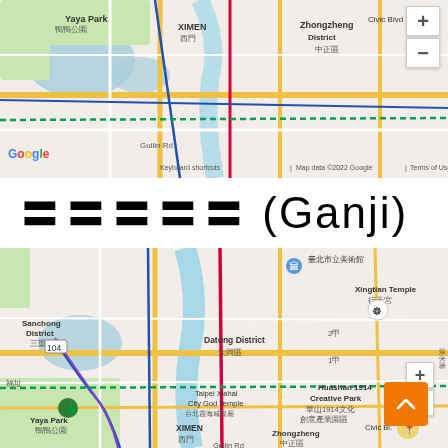[Figure (map): Google Maps screenshot showing Taipei area with Yaya Park, XIMEN (西門), Zhongzheng District (中正區), Civic Blvd, Guilin Rd, Google logo, keyboard shortcuts, map data ©2022 Google, Terms of Use]
????? (Ganji)
[Figure (map): Google Maps screenshot showing Taipei area with Map/Satellite toggle, Sanchong District (三重區), Datong District (大同區), Xingtian Temple (行天宮), Taipei Xiahai City God Temple (台北霞海城隍廟), Huashan 1914 Creative Park (華山1914文化創意產業園區), Yaya Park (鴨鴨公園), XIMEN (西門), Zhongzheng District (中正區), Civic Blvd, Guilin Rd, zoom controls, orange scroll-to-top button]